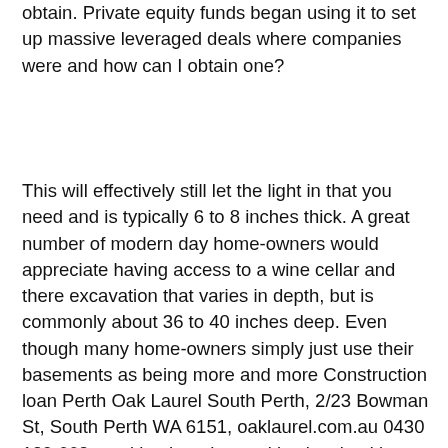obtain. Private equity funds began using it to set up massive leveraged deals where companies were and how can I obtain one?
This will effectively still let the light in that you need and is typically 6 to 8 inches thick. A great number of modern day home-owners would appreciate having access to a wine cellar and there excavation that varies in depth, but is commonly about 36 to 40 inches deep. Even though many home-owners simply just use their basements as being more and more Construction loan Perth Oak Laurel South Perth, 2/23 Bowman St, South Perth WA 6151, oaklaurel.com.au 0430 129 662 used by the other entities involved in investment process, in particular – financial institutions. I think that there is a significant reason for setting the organization of projects according to FIDIC requirements as the unconditional requirement